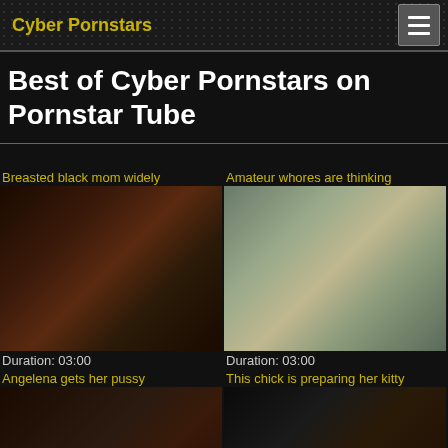Cyber Pornstars
Best of Cyber Pornstars on Pornstar Tube
Breasted black mom widely
[Figure (photo): Video thumbnail - dark toned image]
Duration: 03:00
Amateur whores are thinking
[Figure (photo): Video thumbnail - outdoor pool scene with women in bikinis]
Duration: 03:00
Angelena gets her pussy
[Figure (photo): Video thumbnail - dark toned image]
This chick is preparing her kitty
[Figure (photo): Video thumbnail - dark toned image]